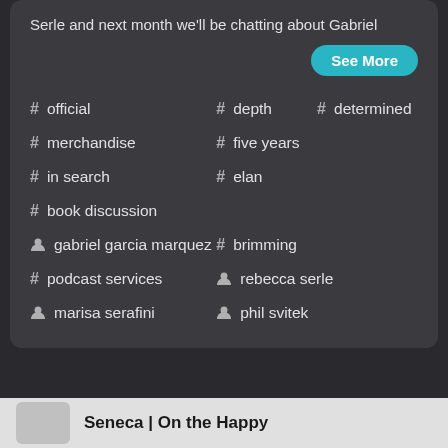Serle and next month we'll be chatting about Gabriel
See More
# official   # depth   # determined
# merchandise   # five years
# in search   # elan
# book discussion
person gabriel garcia marquez   # brimming
# podcast services   person rebecca serle
person marisa serafini   person phil svitek
Seneca | On the Happy